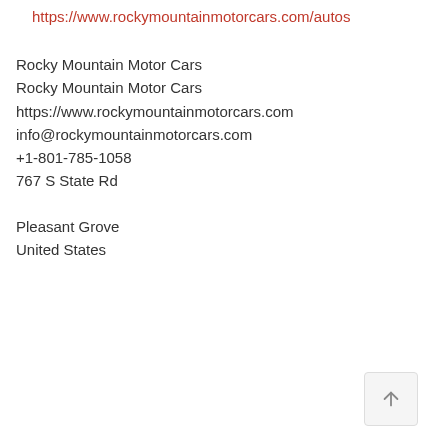https://www.rockymountainmotorcars.com/autos
Rocky Mountain Motor Cars
Rocky Mountain Motor Cars
https://www.rockymountainmotorcars.com
info@rockymountainmotorcars.com
+1-801-785-1058
767 S State Rd
Pleasant Grove
United States
[Figure (other): Scroll-to-top button with upward arrow icon]